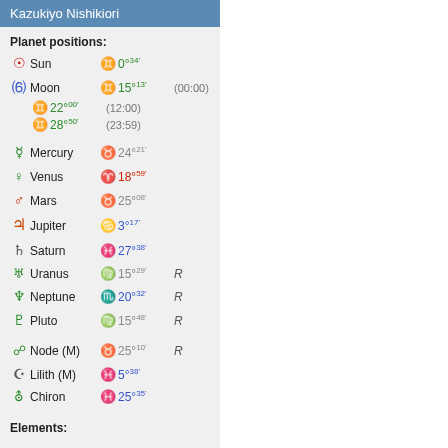Kazukiyo Nishikiori
Planet positions:
Sun — Gemini 0°34'
Moon — Gemini 15°13' (00:00)
Moon — Gemini 22°00' (12:00)
Moon — Gemini 28°50' (23:59)
Mercury — Taurus 24°21'
Venus — Aries 18°59'
Mars — Taurus 25°08'
Jupiter — Cancer 3°17'
Saturn — Pisces 27°38'
Uranus — Virgo 15°29' R
Neptune — Scorpio 20°32' R
Pluto — Virgo 15°48' R
Node (M) — Taurus 25°10' R
Lilith (M) — Pisces 5°38'
Chiron — Pisces 25°35'
Elements: